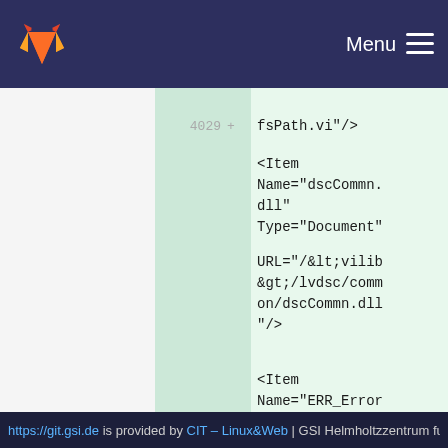Menu
[Figure (screenshot): GitLab code diff view showing XML content with line numbers 4029 and 4030. Line 4029 shows an Item element with Name=dscCommn.dll, Type=Document, URL=/&lt;vilib&gt;/lvdsc/common/dscCommn.dll. Line 4030 shows an Item element with Name=ERR_ErrorClusterFromErro]
https://git.gsi.de is provided by CIT – Linux&Web | GSI Helmholtzzentrum fu...